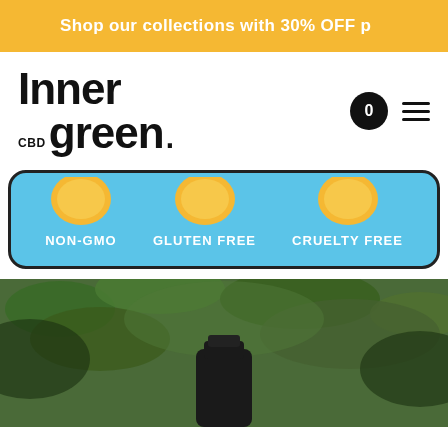Shop our collections with 30% OFF p
[Figure (logo): Inner CBD green. logo with circular cart icon showing 0 and hamburger menu]
[Figure (infographic): Blue rounded card with NON-GMO, GLUTEN FREE, CRUELTY FREE icons with yellow circular badge backgrounds]
[Figure (photo): Dark bottle product photo against green leafy background]